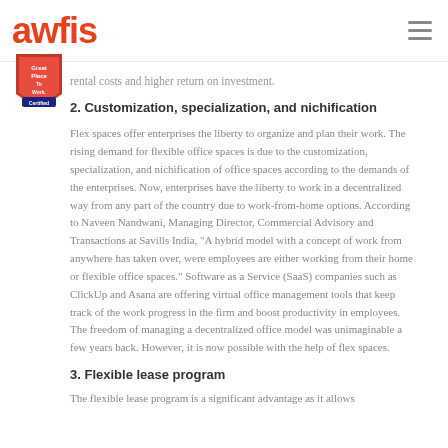awfis
rental costs and higher return on investment.
2. Customization, specialization, and nichification
Flex spaces offer enterprises the liberty to organize and plan their work. The rising demand for flexible office spaces is due to the customization, specialization, and nichification of office spaces according to the demands of the enterprises. Now, enterprises have the liberty to work in a decentralized way from any part of the country due to work-from-home options. According to Naveen Nandwani, Managing Director, Commercial Advisory and Transactions at Savills India, "A hybrid model with a concept of work from anywhere has taken over, were employees are either working from their home or flexible office spaces." Software as a Service (SaaS) companies such as ClickUp and Asana are offering virtual office management tools that keep track of the work progress in the firm and boost productivity in employees. The freedom of managing a decentralized office model was unimaginable a few years back. However, it is now possible with the help of flex spaces.
3. Flexible lease program
The flexible lease program is a significant advantage as it allows